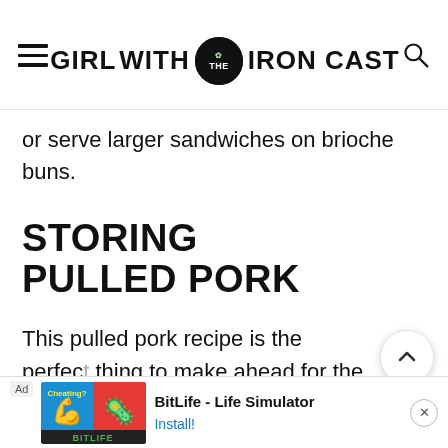GIRL WITH THE IRON CAST
or serve larger sandwiches on brioche buns.
STORING PULLED PORK
This pulled pork recipe is the perfect thing to make ahead for the rest of the week. Simply store leftover cool... stor... it
[Figure (screenshot): BitLife - Life Simulator advertisement banner at the bottom of the page]